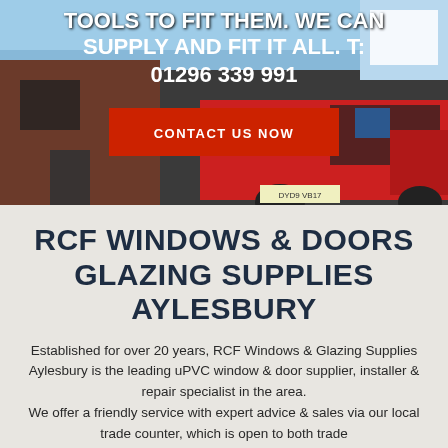[Figure (photo): Hero banner photo of a building exterior with a red van parked outside. White bold text overlaid reads 'TOOLS TO FIT THEM. WE CAN SUPPLY AND FIT IT ALL. T: 01296 339 991'. A red 'CONTACT US NOW' button is centered over the image.]
RCF WINDOWS & DOORS GLAZING SUPPLIES AYLESBURY
Established for over 20 years, RCF Windows & Glazing Supplies Aylesbury is the leading uPVC window & door supplier, installer & repair specialist in the area. We offer a friendly service with expert advice & sales via our local trade counter, which is open to both trade